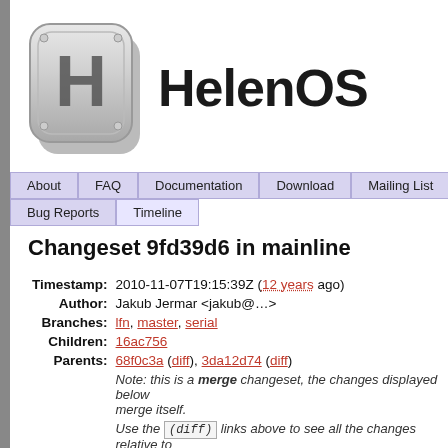[Figure (logo): HelenOS logo: metallic H key icon and HelenOS text title]
About | FAQ | Documentation | Download | Mailing List | Bug Reports | Timeline
Changeset 9fd39d6 in mainline
Timestamp: 2010-11-07T19:15:39Z (12 years ago)
Author: Jakub Jermar <jakub@...>
Branches: lfn, master, serial
Children: 16ac756
Parents: 68f0c3a (diff), 3da12d74 (diff)
Note: this is a merge changeset, the changes displayed below are relative to the merge itself.
Use the (diff) links above to see all the changes relative to
Message: Merge mainline changes.
Location: ...